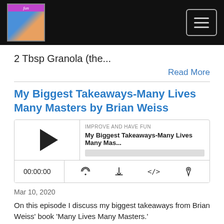Improve and Have Fun podcast website header with logo and hamburger menu
2 Tbsp Granola (the...
Read More
My Biggest Takeaways-Many Lives Many Masters by Brian Weiss
[Figure (other): Podcast audio player widget showing 'IMPROVE AND HAVE FUN' podcast, episode 'My Biggest Takeaways-Many Lives Many Mas...' with play button, progress bar, time 00:00:00, and controls for RSS, download, embed, and share]
Mar 10, 2020
On this episode I discuss my biggest takeaways from Brian Weiss' book 'Many Lives Many Masters.'
This book ends my series of spiritual books(for now). My two